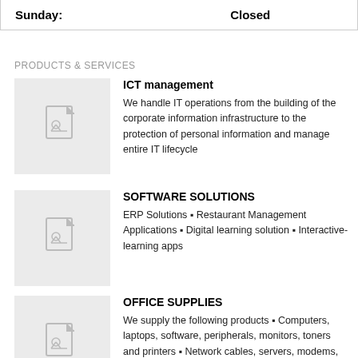| Sunday: | Closed |
PRODUCTS & SERVICES
ICT management
We handle IT operations from the building of the corporate information infrastructure to the protection of personal information and manage entire IT lifecycle
SOFTWARE SOLUTIONS
ERP Solutions ▪ Restaurant Management Applications ▪ Digital learning solution ▪ Interactive-learning apps
OFFICE SUPPLIES
We supply the following products ▪ Computers, laptops, software, peripherals, monitors, toners and printers ▪ Network cables, servers, modems, radio,